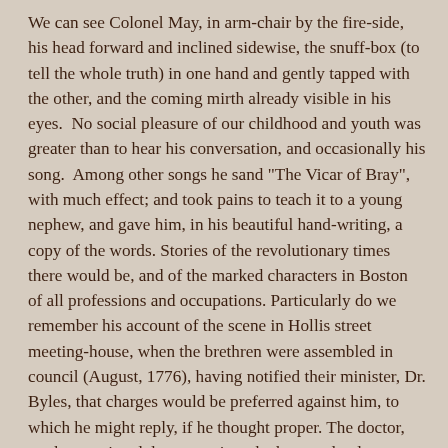We can see Colonel May, in arm-chair by the fire-side, his head forward and inclined sidewise, the snuff-box (to tell the whole truth) in one hand and gently tapped with the other, and the coming mirth already visible in his eyes.  No social pleasure of our childhood and youth was greater than to hear his conversation, and occasionally his song.  Among other songs he sand "The Vicar of Bray", with much effect; and took pains to teach it to a young nephew, and gave him, in his beautiful hand-writing, a copy of the words. Stories of the revolutionary times there would be, and of the marked characters in Boston of all professions and occupations. Particularly do we remember his account of the scene in Hollis street meeting-house, when the brethren were assembled in council (August, 1776), having notified their minister, Dr. Byles, that charges would be preferred against him, to which he might reply, if he thought proper. The doctor, on the appointed day, came into the house, slowly ascended the pulpit, and from that place of accustomed authority made audible comments on the business as it proceeded, and upon the different speakers, in a way anything but complimentary; when, having sufficiently signified his lofty indifference to them and their doings, he